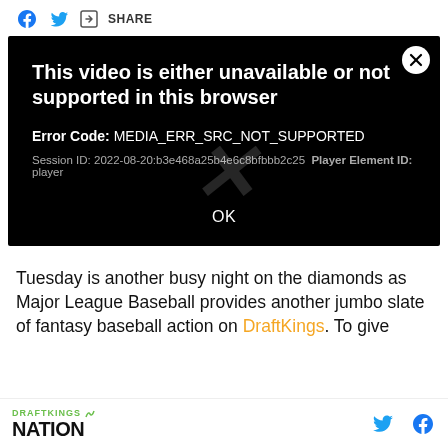Share (Facebook, Twitter, Share button)
[Figure (screenshot): Video player error message on black background. Title: 'This video is either unavailable or not supported in this browser'. Error Code: MEDIA_ERR_SRC_NOT_SUPPORTED. Session ID: 2022-08-20:b3e468a25b4e6c8bfbbb2c25 Player Element ID: player. OK button at bottom. X close button top right. Faint italic X watermark in center.]
Tuesday is another busy night on the diamonds as Major League Baseball provides another jumbo slate of fantasy baseball action on DraftKings. To give
DRAFTKINGS NATION (Twitter icon, Facebook icon)